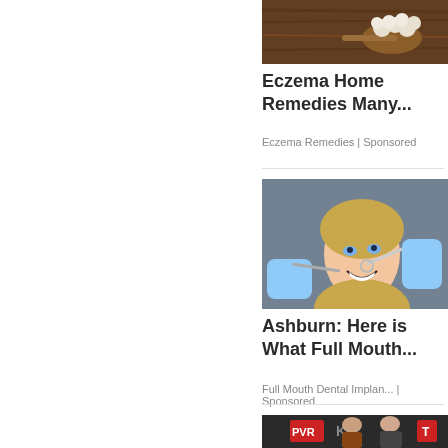[Figure (photo): Food on wooden spoon — likely cauliflower or natural remedy ingredients on dark wooden background]
Eczema Home Remedies Many...
Eczema Remedies | Sponsored
[Figure (photo): Young smiling woman at dentist with dental tools and gloved hands working on her teeth]
Ashburn: Here is What Full Mouth...
Full Mouth Dental Implan... | Sponsored
[Figure (photo): Two people posing in front of a PVR branded backdrop — a woman and a man]